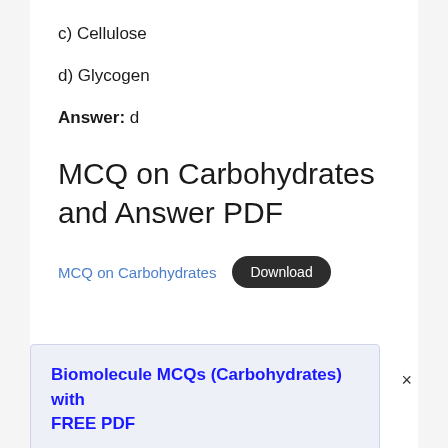c) Cellulose
d) Glycogen
Answer: d
MCQ on Carbohydrates and Answer PDF
MCQ on Carbohydrates   Download
Biomolecule MCQs (Carbohydrates) with FREE PDF